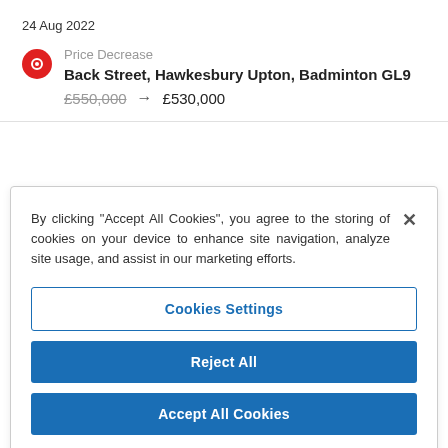24 Aug 2022
Price Decrease
Back Street, Hawkesbury Upton, Badminton GL9
£550,000 → £530,000
By clicking "Accept All Cookies", you agree to the storing of cookies on your device to enhance site navigation, analyze site usage, and assist in our marketing efforts.
Cookies Settings
Reject All
Accept All Cookies